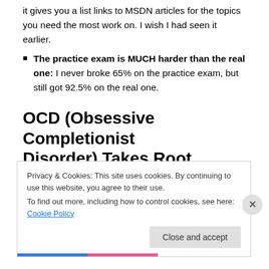it gives you a list links to MSDN articles for the topics you need the most work on. I wish I had seen it earlier.
The practice exam is MUCH harder than the real one: I never broke 65% on the practice exam, but still got 92.5% on the real one.
OCD (Obsessive Completionist Disorder) Takes Root
Privacy & Cookies: This site uses cookies. By continuing to use this website, you agree to their use.
To find out more, including how to control cookies, see here: Cookie Policy